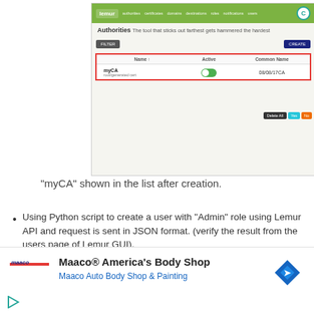[Figure (screenshot): Screenshot of Lemur GUI showing the Authorities page with a table listing 'myCA' certificate authority, with active status toggle (green), and common name shown. Red border highlights the table row.]
"myCA" shown in the list after creation.
Using Python script to create a user with "Admin" role using Lemur API and request is sent in JSON format. (verify the result from the users page of Lemur GUI).
Creation of Certificate for the specified owner and user (Verify the result from the certificate
[Figure (infographic): Advertisement: Maaco® America's Body Shop - Maaco Auto Body Shop & Painting, with Maaco logo, navigation arrow icon, and play button.]